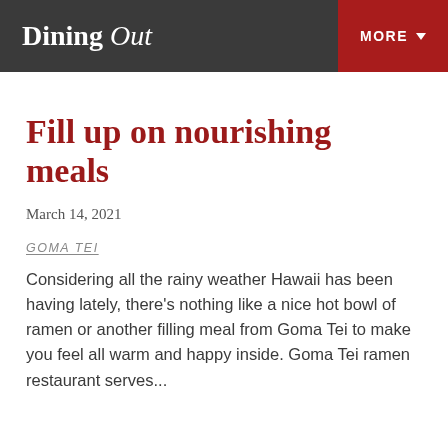Dining Out  MORE
Fill up on nourishing meals
March 14, 2021
GOMA TEI
Considering all the rainy weather Hawaii has been having lately, there's nothing like a nice hot bowl of ramen or another filling meal from Goma Tei to make you feel all warm and happy inside. Goma Tei ramen restaurant serves...